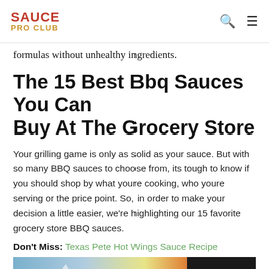SAUCE PRO CLUB
formulas without unhealthy ingredients.
The 15 Best Bbq Sauces You Can Buy At The Grocery Store
Your grilling game is only as solid as your sauce. But with so many BBQ sauces to choose from, its tough to know if you should shop by what youre cooking, who youre serving or the price point. So, in order to make your decision a little easier, we're highlighting our 15 favorite grocery store BBQ sauces.
Don't Miss: Texas Pete Hot Wings Sauce Recipe
[Figure (photo): Advertisement image showing an airplane with luggage being loaded, with a dark overlay banner reading WITHOUT REGARD TO with additional small text below]